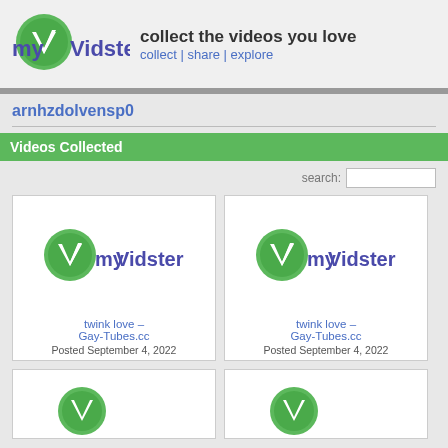[Figure (logo): myVidster logo with green leaf/checkmark icon and stylized text]
collect the videos you love
collect | share | explore
arnhzdolvensp0
Videos Collected
search:
[Figure (logo): myVidster placeholder logo thumbnail for video card 1]
twink love – Gay-Tubes.cc
Posted September 4, 2022
[Figure (logo): myVidster placeholder logo thumbnail for video card 2]
twink love – Gay-Tubes.cc
Posted September 4, 2022
[Figure (logo): myVidster placeholder logo thumbnail for video card 3 (partial)]
[Figure (logo): myVidster placeholder logo thumbnail for video card 4 (partial)]